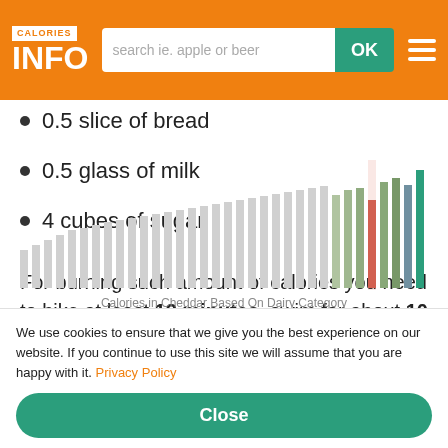CALORIES INFO — search bar — OK — menu
0.5 slice of bread
0.5 glass of milk
4 cubes of sugar
For burning such amount of calories you need to bike at least 12 minutes, swim for about 10 minutes or run for 8 minutes.
[Figure (bar-chart): Calories in Cheddar Based On Dairy Category - bar chart showing varying calorie bars, partially obscured by cookie notice]
Calories in Cheddar Based On Dairy Category
We use cookies to ensure that we give you the best experience on our website. If you continue to use this site we will assume that you are happy with it. Privacy Policy
Close